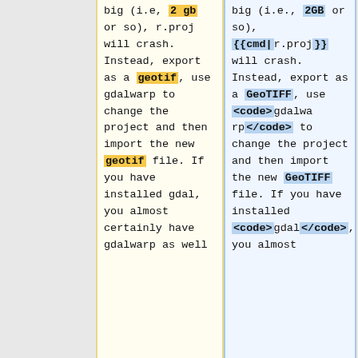big (i.e, 2 gb or so), r.proj will crash. Instead, export as a geotif, use gdalwarp to change the project and then import the new geotif file. If you have installed gdal, you almost certainly have gdalwarp as well
big (i.e., 2GB or so), {{cmd|r.proj}} will crash. Instead, export as a GeoTIFF, use <code>gdalwarp</code> to change the project and then import the new GeoTIFF file. If you have installed <code>gdal</code>, you almost